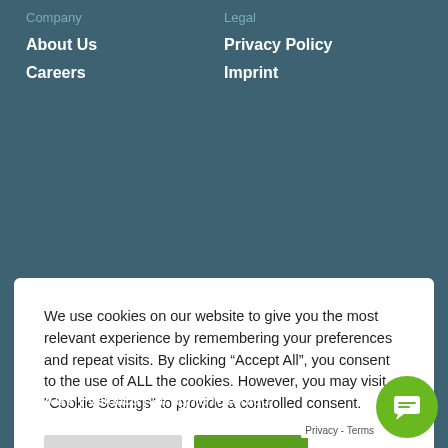Company
Legal
About Us
Privacy Policy
Careers
Imprint
We use cookies on our website to give you the most relevant experience by remembering your preferences and repeat visits. By clicking “Accept All”, you consent to the use of ALL the cookies. However, you may visit "Cookie Settings" to provide a controlled consent.
Cookie Settings | Accept All
© 2022 | Valutico | all rights reserved